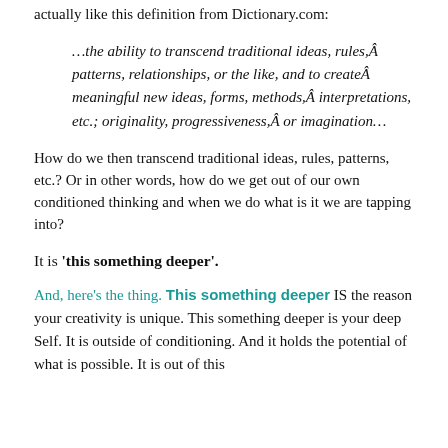actually like this definition from Dictionary.com:
…the ability to transcend traditional ideas, rules,Â patterns, relationships, or the like, and to createÂ meaningful new ideas, forms, methods,Â interpretations, etc.; originality, progressiveness,Â or imagination…
How do we then transcend traditional ideas, rules, patterns, etc.? Or in other words, how do we get out of our own conditioned thinking and when we do what is it we are tapping into?
It is 'this something deeper'.
And, here's the thing. This something deeper IS the reason your creativity is unique. This something deeper is your deep Self. It is outside of conditioning. And it holds the potential of what is possible. It is out of this